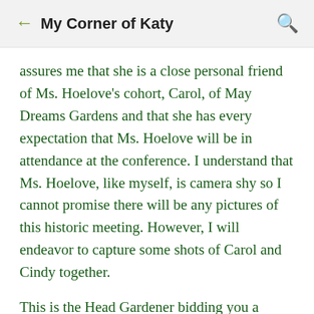My Corner of Katy
assures me that she is a close personal friend of Ms. Hoelove's cohort, Carol, of May Dreams Gardens and that she has every expectation that Ms. Hoelove will be in attendance at the conference. I understand that Ms. Hoelove, like myself, is camera shy so I cannot promise there will be any pictures of this historic meeting. However, I will endeavor to capture some shots of Carol and Cindy together.
This is the Head Gardener bidding you a reluctant farewell. SWMBO will report back upon our return.